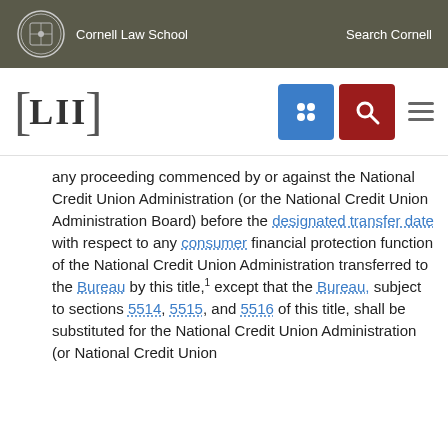Cornell Law School   Search Cornell
[Figure (logo): LII Legal Information Institute logo with navigation icons (grid icon in blue, search icon in red, hamburger menu)]
any proceeding commenced by or against the National Credit Union Administration (or the National Credit Union Administration Board) before the designated transfer date with respect to any consumer financial protection function of the National Credit Union Administration transferred to the Bureau by this title,1 except that the Bureau, subject to sections 5514, 5515, and 5516 of this title, shall be substituted for the National Credit Union Administration (or National Credit Union